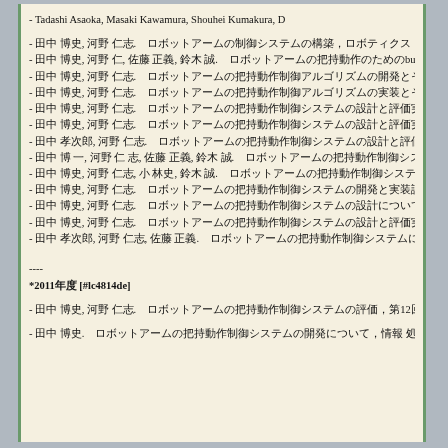- Tadashi Asaoka, Masaki Kawamura, Shouhei Kumakura, ...
- 田中 博史, 河野 仁志.  ロボットアームの制御システムの構築, ロボティクス・メカトロニクス講演会'12講演論文集, 1P1-R06,
- 田中 博史, 河野 仁, 佐藤 正義, 鈴木 誠.  ロボットアームの把持動作のためのbuEnwa制御, 情報処理学会
- 田中 博史, 河野 仁志.  ロボットアームの把持動作制御アルゴリズムの開発とその評価, 情報処理学会論文誌
- 田中 博史, 河野 仁志.  ロボットアームの把持動作制御アルゴリズムの実装とその評価実験, 情報処理学会論文誌
- 田中 博史, 河野 仁志.  ロボットアームの把持動作制御システムの設計と評価実験について, 情報処理学会
- 田中 博史, 河野 仁志.  ロボットアームの把持動作制御システムの設計と評価実験について, 情報処理学会論文誌
- 田中 孝次郎, 河野 仁志.  ロボットアームの把持動作制御システムの設計と評価実験について, 情報処理学会論文誌
- 田中 博 一, 河野 仁 志, 佐藤 正義, 鈴木 誠.  ロボットアームの把持動作制御システムの開発と実験評価, 情
- 田中 博史, 河野 仁志, 小 林史, 鈴木 誠.  ロボットアームの把持動作制御システムの開発と実験評価, 情報処理学会
- 田中 博史, 河野 仁志.  ロボットアームの把持動作制御システムの開発と実装評価について, 情報処理学会論文誌
- 田中 博史, 河野 仁志.  ロボットアームの把持動作制御システムの設計について, 情報処理学会論文誌
- 田中 博史, 河野 仁志.  ロボットアームの把持動作制御システムの設計と評価実験について, 情報処理学会論文誌
- 田中 孝次郎, 河野 仁志, 佐藤 正義.  ロボットアームの把持動作制御システムについて, 情報処理学会論文誌
----
*2011年度 [#lc4814de]
- 田中 博史, 河野 仁志.  ロボットアームの把持動作制御システムの評価, 第12回ロボティクスシンポジア講演論文集(SI2
- 田中 博史.  ロボットアームの把持動作制御システムの開発について, 情報 処理学会誌, Vol.28, No.12, pp.2--6